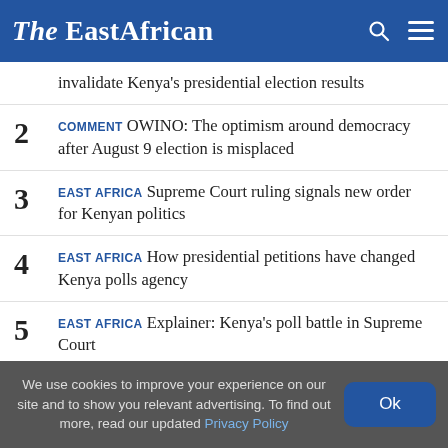The EastAfrican
invalidate Kenya's presidential election results
2 COMMENT OWINO: The optimism around democracy after August 9 election is misplaced
3 EAST AFRICA Supreme Court ruling signals new order for Kenyan politics
4 EAST AFRICA How presidential petitions have changed Kenya polls agency
5 EAST AFRICA Explainer: Kenya's poll battle in Supreme Court
We use cookies to improve your experience on our site and to show you relevant advertising. To find out more, read our updated Privacy Policy